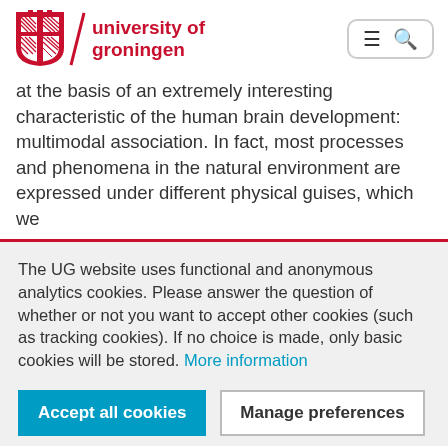[Figure (logo): University of Groningen logo with red shield emblem, diagonal red slash divider, and red bold text reading 'university of groningen']
at the basis of an extremely interesting characteristic of the human brain development: multimodal association. In fact, most processes and phenomena in the natural environment are expressed under different physical guises, which we
The UG website uses functional and anonymous analytics cookies. Please answer the question of whether or not you want to accept other cookies (such as tracking cookies). If no choice is made, only basic cookies will be stored. More information
Accept all cookies
Manage preferences